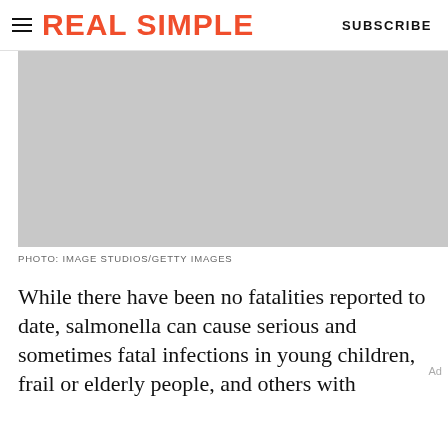REAL SIMPLE | SUBSCRIBE
[Figure (photo): Gray placeholder image, photo credit: IMAGE STUDIOS/GETTY IMAGES]
PHOTO: IMAGE STUDIOS/GETTY IMAGES
While there have been no fatalities reported to date, salmonella can cause serious and sometimes fatal infections in young children, frail or elderly people, and others with